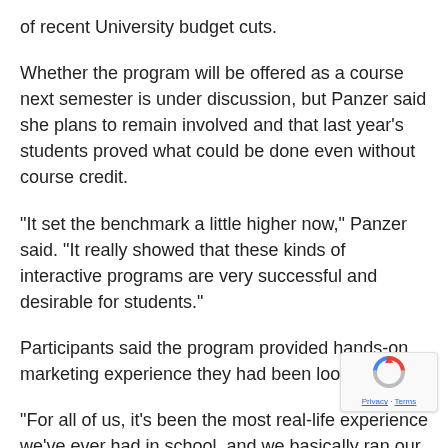of recent University budget cuts.
Whether the program will be offered as a course next semester is under discussion, but Panzer said she plans to remain involved and that last year's students proved what could be done even without course credit.
“It set the benchmark a little higher now,” Panzer said. “It really showed that these kinds of interactive programs are very successful and desirable for students.”
Participants said the program provided hands-on marketing experience they had been looking for.
“For all of us, it’s been the most real-life experience we’ve ever had in school, and we basically ran our